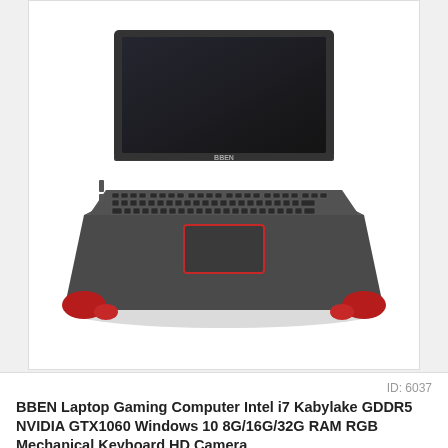[Figure (photo): BBEN gaming laptop open from above showing keyboard, red accents at corners and trackpad, dark grey chassis, BBEN logo on screen hinge]
ID: 6037
BBEN Laptop Gaming Computer Intel i7 Kabylake GDDR5 NVIDIA GTX1060 Windows 10 8G/16G/32G RAM RGB Mechanical Keyboard HD Camera
★★★★★ 0.0 ( votes) | 1 orders
Price: US $2100.00 - 3639.98 / piece
Discount Price: US $3275.98 / piece -13%